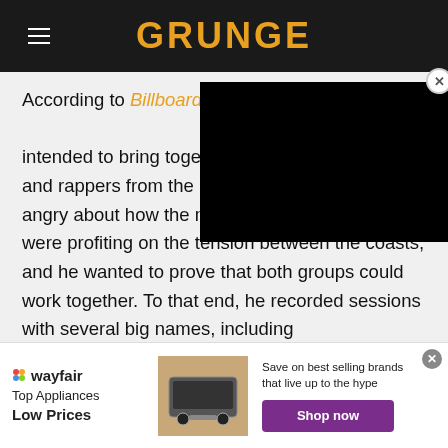GRUNGE
[Figure (screenshot): Black video player overlay in top right corner with close button]
According to Billboard, his in-progress album was intended to bring together rap and rappers from the East Coast. Tupac was angry about how the media and record labels were profiting on the tension between the coasts, and he wanted to prove that both groups could work together. To that end, he recorded sessions with several big names, including Snoop Dogg, Outlast, the Brooklyn rap collective Boot
[Figure (screenshot): Wayfair advertisement banner: Top Appliances Low Prices, Save on best selling brands that live up to the hype, Shop now button]